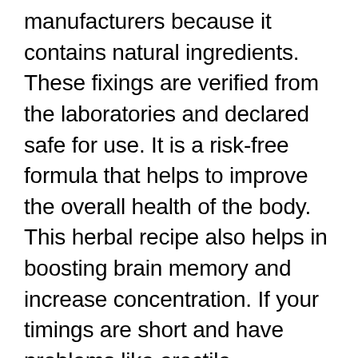manufacturers because it contains natural ingredients. These fixings are verified from the laboratories and declared safe for use. It is a risk-free formula that helps to improve the overall health of the body. This herbal recipe also helps in boosting brain memory and increase concentration. If your timings are short and have problems like erectile dysfunction (ED), premature ejaculation, weak erections, and high stress then use this product at once. Visit the official site and order now your favorite pill.